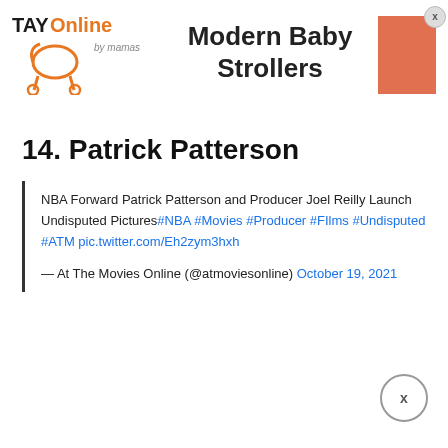[Figure (logo): TAY Online by mamas logo with stroller icon in orange]
Modern Baby Strollers
[Figure (other): Orange/salmon colored advertisement box with X close button]
14. Patrick Patterson
NBA Forward Patrick Patterson and Producer Joel Reilly Launch Undisputed Pictures#NBA #Movies #Producer #FIlms #Undisputed #ATM pic.twitter.com/Eh2zym3hxh

— At The Movies Online (@atmoviesonline) October 19, 2021
[Figure (other): Circle close button with X]